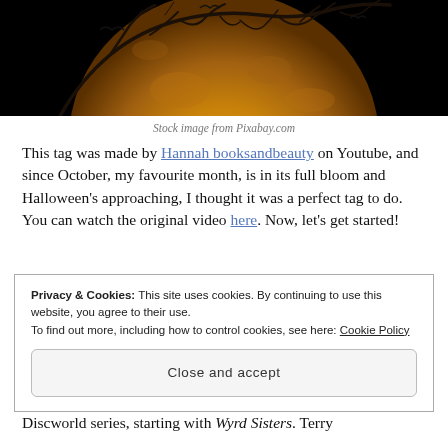[Figure (photo): An orange glowing moon with dark tree branch silhouettes and bird silhouettes against a black background]
Stock image from Pixabay.com
This tag was made by Hannah booksandbeauty on Youtube, and since October, my favourite month, is in its full bloom and Halloween's approaching, I thought it was a perfect tag to do. You can watch the original video here. Now, let's get started!
Privacy & Cookies: This site uses cookies. By continuing to use this website, you agree to their use.
To find out more, including how to control cookies, see here: Cookie Policy
[Close and accept button]
Discworld series, starting with Wyrd Sisters. Terry